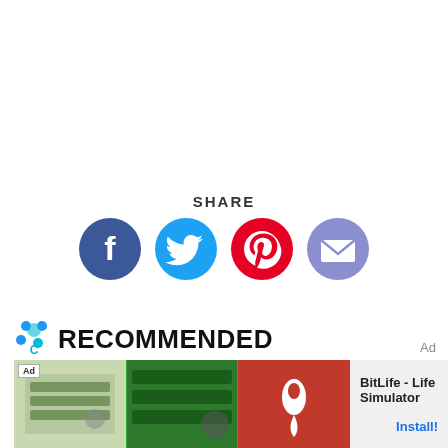SHARE
[Figure (infographic): Row of four social share icon buttons: Facebook (blue circle with white 'f'), Twitter (light blue circle with white bird), Pinterest (red circle with white 'P'), Email (purple/lavender circle with white envelope)]
[Figure (logo): Chewy.com paw print logo icon (blue/teal paw with 'C' cutout)]
RECOMMENDED
Ad
[Figure (screenshot): BitLife - Life Simulator advertisement banner with game screenshots and app icon]
BitLife - Life Simulator
Install!